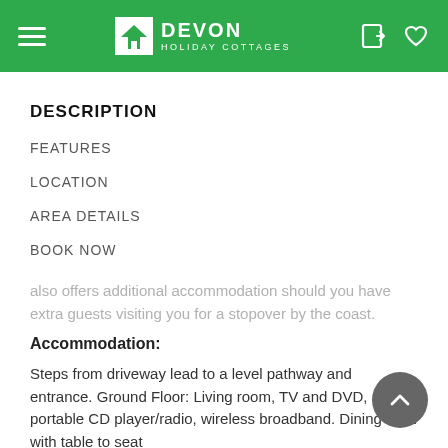Devon Holiday Cottages
DESCRIPTION
FEATURES
LOCATION
AREA DETAILS
BOOK NOW
also offers additional accommodation should you have extra guests visiting you for a stopover by the coast.
Accommodation:
Steps from driveway lead to a level pathway and entrance. Ground Floor: Living room, TV and DVD, portable CD player/radio, wireless broadband. Dining area with table to seat